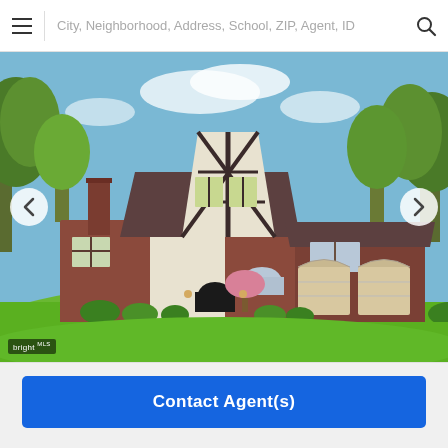City, Neighborhood, Address, School, ZIP, Agent, ID
[Figure (photo): Exterior photo of a two-story brick Tudor-style house with a peaked gable front, white stucco and dark timber accents, two-car garage, green lawn, and trees in background. Bright MLS watermark in lower left.]
Contact Agent(s)